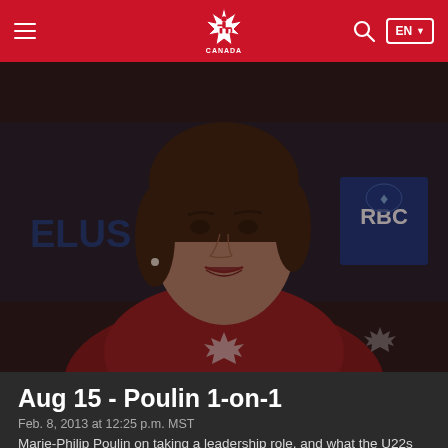Hockey Canada navigation bar with hamburger menu, Hockey Canada logo, search icon, and EN language selector
[Figure (photo): Marie-Philip Poulin at a press conference wearing a red Canada jacket, seated in front of a backdrop showing TELUS and RBC logos, slightly dark/dim lighting]
Aug 15 - Poulin 1-on-1
Feb. 8, 2013 at 12:25 p.m. MST
Marie-Philip Poulin on taking a leadership role, and what the U22s have to do to have success.